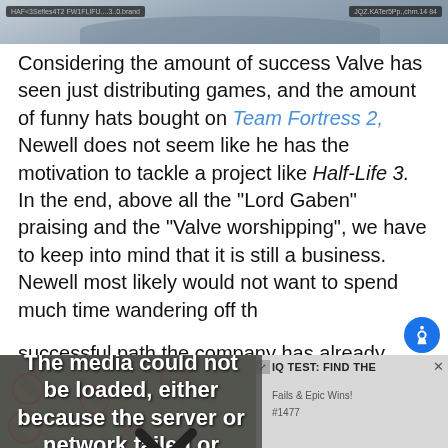[Figure (screenshot): Website page header screenshot bar with dark overlay labels on left and right sides]
Considering the amount of success Valve has seen just distributing games, and the amount of funny hats bought on Team Fortress 2, Newell does not seem like he has the motivation to tackle a project like Half-Life 3. In the end, above all the "Lord Gaben" praising and the "Valve worshipping", we have to keep into mind that it is still a business. Newell most likely would not want to spend much time wandering off the successful path the company has already found, and
[Figure (screenshot): Video media error overlay showing game screenshot background with message: The media could not be loaded, either because the server or network failed or because the format is not supported. Overlaid on a game map screenshot with a video sidebar panel showing IQ TEST: FIND THE, Fails & Epic Wins!, #1477 text. A large X dismiss button is visible at the bottom.]
Life 3, he technically never said that they would not ever make a sequel either.